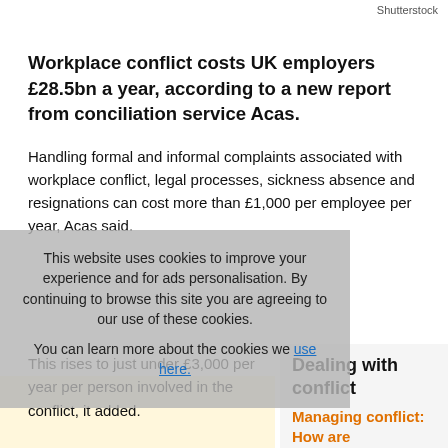Shutterstock
Workplace conflict costs UK employers £28.5bn a year, according to a new report from conciliation service Acas.
Handling formal and informal complaints associated with workplace conflict, legal processes, sickness absence and resignations can cost more than £1,000 per employee per year, Acas said.
This rises to just under £3,000 per year per person involved in the conflict, it added.
This website uses cookies to improve your experience and for ads personalisation. By continuing to browse this site you are agreeing to our use of these cookies. You can learn more about the cookies we use here.
Dealing with conflict
Managing conflict: How are
In 2018-19, 9.7 million employees experienced some form of